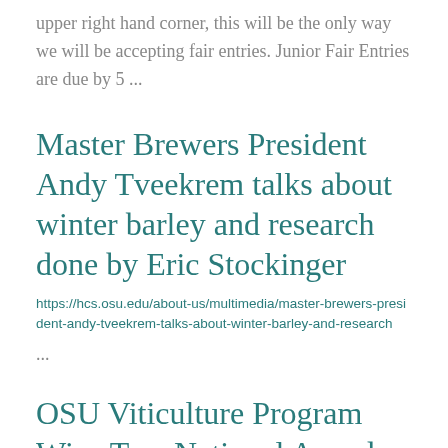upper right hand corner, this will be the only way we will be accepting fair entries. Junior Fair Entries are due by 5 ...
Master Brewers President Andy Tveekrem talks about winter barley and research done by Eric Stockinger
https://hcs.osu.edu/about-us/multimedia/master-brewers-president-andy-tveekrem-talks-about-winter-barley-and-research
...
OSU Viticulture Program Wins Two National Awards for Best ...